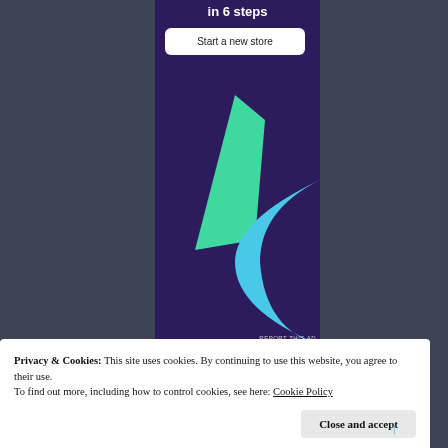[Figure (illustration): Advertisement banner with dark purple background showing a green angular shape and a blue crescent/arc shape, with a 'Start a new store' button at the top and partial title text 'in 6 steps' visible]
Privacy & Cookies: This site uses cookies. By continuing to use this website, you agree to their use. To find out more, including how to control cookies, see here: Cookie Policy
Close and accept